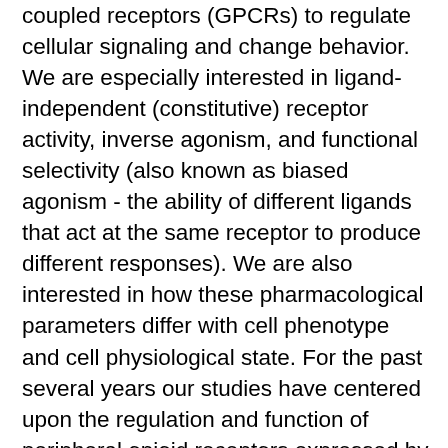coupled receptors (GPCRs) to regulate cellular signaling and change behavior. We are especially interested in ligand-independent (constitutive) receptor activity, inverse agonism, and functional selectivity (also known as biased agonism - the ability of different ligands that act at the same receptor to produce different responses). We are also interested in how these pharmacological parameters differ with cell phenotype and cell physiological state. For the past several years our studies have centered upon the regulation and function of peripheral opioid receptors expressed by peripheral pain-sensing neurons and their role as potential targets for safer treatments for pain. Inhibition of these pain-sensing neurons can produce powerful analgesia (think local anesthetics). Opioid drugs that are modified to be peripherally-restricted so that they do not enter the CNS would be effective analgesics for some forms of pain (post-surgical, inflammatory, etc.) that involve activity of the peripheral